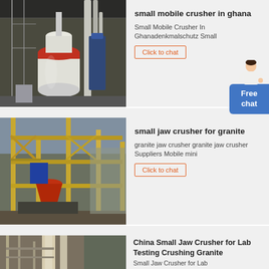[Figure (photo): Industrial milling/grinding equipment with white cylindrical mills, scaffolding, pipes and blue machinery indoors]
small mobile crusher in ghana
Small Mobile Crusher In Ghanadenkmalschutz Small
Click to chat
[Figure (photo): Outdoor industrial jaw crusher facility with yellow steel frame structure, blue and red machinery components]
small jaw crusher for granite
granite jaw crusher granite jaw crusher Suppliers Mobile mini
Click to chat
[Figure (photo): Industrial crushing plant with scaffolding, pipes and equipment at construction site]
China Small Jaw Crusher for Lab Testing Crushing Granite
Small Jaw Crusher for Lab